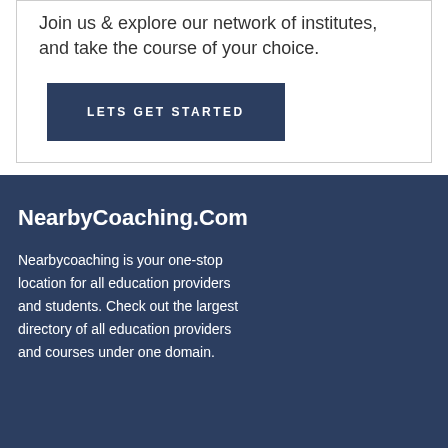Join us & explore our network of institutes, and take the course of your choice.
LETS GET STARTED
NearbyCoaching.Com
Nearbycoaching is your one-stop location for all education providers and students. Check out the largest directory of all education providers and courses under one domain.